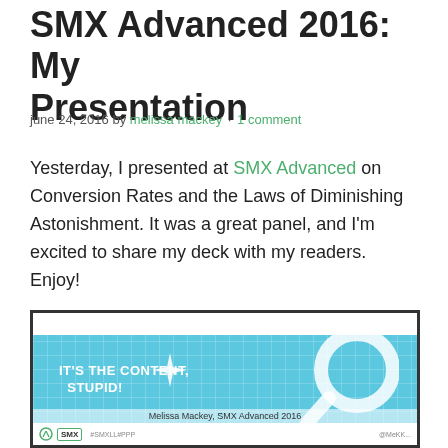SMX Advanced 2016: My Presentation
june 24, 2016 by melissa mackey · 1 comment
Yesterday, I presented at SMX Advanced on Conversion Rates and the Laws of Diminishing Astonishment. It was a great panel, and I'm excited to share my deck with my readers. Enjoy!
[Figure (screenshot): Slide thumbnail from SMX Advanced 2016 presentation. Blue background with grid pattern, white magnifying glass icon, text reading IT'S THE CONTENT, STUPID! and caption Melissa Mackey, SMX Advanced 2016. SMX logo bar at bottom.]